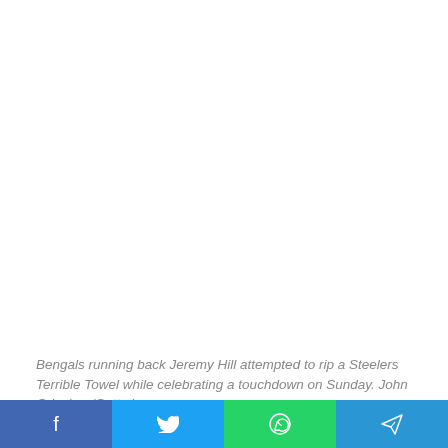Bengals running back Jeremy Hill attempted to rip a Steelers Terrible Towel while celebrating a touchdown on Sunday. John Grieshop/Getty Images
Osweiler said regardless of the decision that is made about who will start on Sunday, he will prepare this week like he will be the starter.
Mark's competitive, man, as am I, » Hightower said. « It's a tough situation, especially when you start getting down there to that goal line. As a running back, your eyes are lightin' up,
f  t  ©  ✈